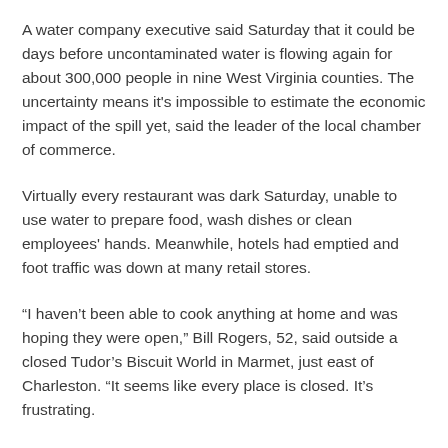A water company executive said Saturday that it could be days before uncontaminated water is flowing again for about 300,000 people in nine West Virginia counties. The uncertainty means it's impossible to estimate the economic impact of the spill yet, said the leader of the local chamber of commerce.
Virtually every restaurant was dark Saturday, unable to use water to prepare food, wash dishes or clean employees' hands. Meanwhile, hotels had emptied and foot traffic was down at many retail stores.
“I haven’t been able to cook anything at home and was hoping they were open,” Bill Rogers, 52, said outside a closed Tudor’s Biscuit World in Marmet, just east of Charleston. “It seems like every place is closed. It’s frustrating.